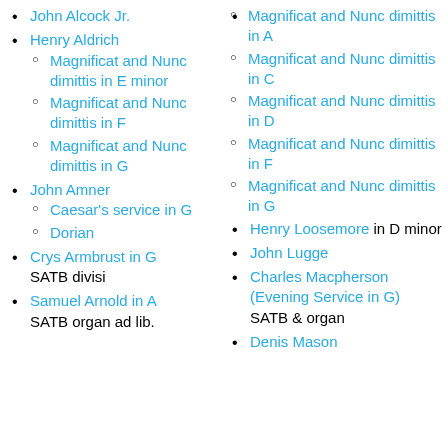John Alcock Jr.
Henry Aldrich
Magnificat and Nunc dimittis in E minor
Magnificat and Nunc dimittis in F
Magnificat and Nunc dimittis in G
John Amner
Caesar's service in G
Dorian
Crys Armbrust in G SATB divisi
Samuel Arnold in A SATB organ ad lib.
Magnificat and Nunc dimittis in A
Magnificat and Nunc dimittis in C
Magnificat and Nunc dimittis in D
Magnificat and Nunc dimittis in F
Magnificat and Nunc dimittis in G
Henry Loosemore in D minor
John Lugge
Charles Macpherson (Evening Service in G) SATB & organ
Denis Mason